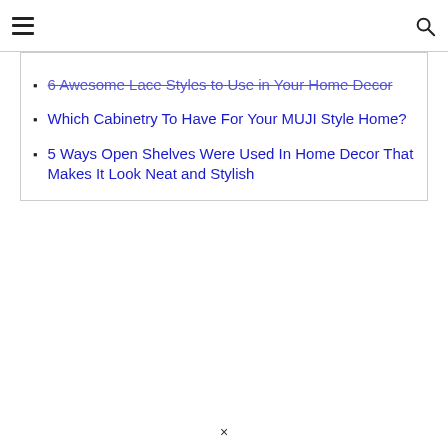☰ [search icon]
6 Awesome Lace Styles to Use in Your Home Decor
Which Cabinetry To Have For Your MUJI Style Home?
5 Ways Open Shelves Were Used In Home Decor That Makes It Look Neat and Stylish
×